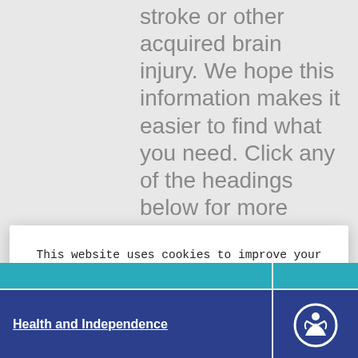stroke or other acquired brain injury. We hope this information makes it easier to find what you need. Click any of the headings below for more information.
This website uses cookies to improve your experience. We'll assume you're ok with this. If not, click the link for info on how to manage and delete cookies.
Yes, I'm ok with that
Read More
Health and Independence